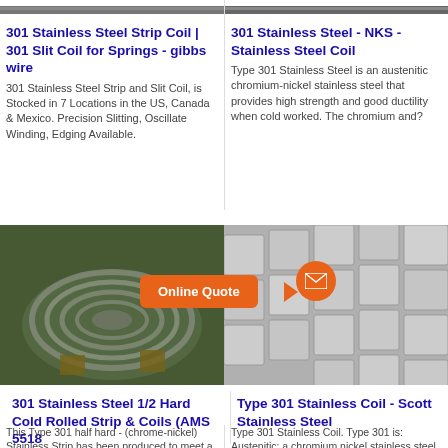[Figure (photo): Top-left product photo of stainless steel strip/coil]
301 Stainless Steel Strip Coil | 301 Slit Coil for Springs - gibbs wire
301 Stainless Steel Strip and Slit Coil, is Stocked in 7 Locations in the US, Canada & Mexico. Precision Slitting, Oscillate Winding, Edging Available.
[Figure (photo): Top-right product photo of stainless steel coil]
301 Stainless Steel - NKS - Stainless Steel Coil
Type 301 Stainless Steel is an austenitic chromium-nickel stainless steel that provides high strength and good ductility when cold worked. The chromium and?
[Figure (photo): Bottom-left product photo of stainless steel wire coil]
[Figure (photo): Bottom-right product photo of stainless steel square tubing]
301 Stainless Steel 1/2 Hard Cold Rolled Strip & Coils (AMS 5518
This Type 301 half hard - (chrome-nickel) Stainless Strip has been produced to meet a need for an in-between forming Quality Strip within a
Type 301 Stainless Coil - Scott Stainless Steel
Type 301 Stainless Coil. Type 301 is: Austenitic: a chromium nickel stainless steel that contains slightly more carbon and slightly less chromium and nickel than?